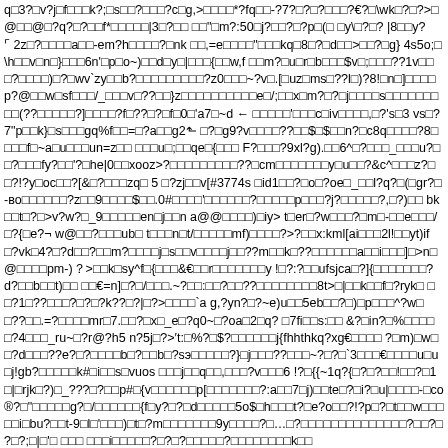q□3?□v?j□f□□□k?;□s□□?□□□?c□g,>□□□□*?fq□□-?7?□?□?□□□?€?□\wk□?□?>□@□□@□?q?□?□□f*□□□□□|3□?□□ □□"□m?:50□j?□□?□?p□(□ □y\□?□? |8□□y?↵ 2z□?□□□□a□□-em?h□□□□?□nk □□,=e□□□□"□□□kq□8□?□d□□>□□?□g} 4s5o;□\h□□v□n□}□□□6n'□p□o~)□□d□y□|□□□{□□w,f □□m?□u□r□b□□□$v□;□□□??1v□□□?□□□□)□?□wv`zy□□b?□□□□□□□□□?z0□□□~?v□.[□uz□ms□??l□)?8!□n□]□□□□p?@□□w□sf□□□/_□□□v□??□□}z□□□□□□□□□□e□/;□□x□m?□?□j□□□□s□□□□□□□□□(??□□□□□?]□□□□?f□??□?□f□0□'a7□~d ← □□□□□'□□□c□iv□□□□,□?'s□3 vs□?7"p□□k}□s□□□gq%f□□=□?a□□g2⬑ □?□g9?v□□□□??□□$□$□□n?□c8q□□□□?8□□□□f□~a□u□□□un=z□□ □□□u□;□□qe□{□□□ F?□□□?9xl?g).□□6^□?□□□_□□□u?□□?□□□fy?□□'?□he|0□□xooz>?□□□□□□□□□??□cm□□□□□□□y□u□□?&c^□□□z?□□?!?y□oc□□?[&□?□□□zq□ 5 □?zj□□v[#3774s □id1□□?□o□?oe□_□□l?q?□(□gr?□-вo□□□□□□?z□□9□□□□$□□.0#□□□□'□□□□□□?□□□□□p□□□?j?□□□□□?,□?)□□ bk□□t□?□>v?w?□_9□□□□□en□j□□n a@@□□□□)□iy> t□er□?w□□□?□m□-□□e□□□/□?{□e?¬ w@□□?□□□ub□ t□□□n□t/□□□□□mf)□□□□?>?□□x:kml[ai□□□2l!□□yt)if□?vk□4?□?d□□?□□m?□□□□j□s□□v□□□□j□□??m□□k□??□□□□□□a□□i□□□]□>n□@□□□□pm-)?>□□k□sy^f□{□□□&€□□r□□□□□□□y !□?:?□□ufsjca□?]{□□□□□□□?d?□□b□□t)□□ □□€=n]□?□/□□□.~?□□:□□?□□??□□□□□□□□8t>□|□□k□□f□?ryk□ □□?1□??□□□?□?□?k??□?|□?>□□□□`a g,?yn?□?~e)u□□5eb□□?□)□p□□□^?w□□??□□.=?□□□□mr□7.□□?□x□_e□?q0~□?oa□2□q? □7fi□□s:□□ &?□in?□%□□□□□?4□□□_ru~□?r@?h5 n?5j□?>′t:□%?□$?□□□□□□j{fhhthkq?xg€□□□□ ?□m)□w□□?d□□□??e?□?□□□□b□?□□b□?sэ□□□□□?}□j□□□??□□□~?□?□`3□□□€□□□□u□u□j!gb?□□□□□k#□i□□s□vuos □□□j□□q□□,□□□?v□□□6 !?□{{~1q?{□?□?□□!□□?□1□|□rjk□?)□_???□?□□p#□{v□□□□□□p[□□□□□□□?:a□□7□j)□□te□?□i?□u|□□□□-□co®?□"□□□□□g?□/□□□□□□{f□y?□?□d□□□□□5o$□h□□□t?□e?o□□?!?p□?□t□□w□□□□□i□bu?□□t-9□l□'□□□)□t□?m□□□□□□□9y□□□□?□…□?□□□□□□□□□□□□□□?□□?□ ?□?;□|□'□ □□□ □□□i□□□□□?□?□?□□□□□?□□□□□□□□k□□